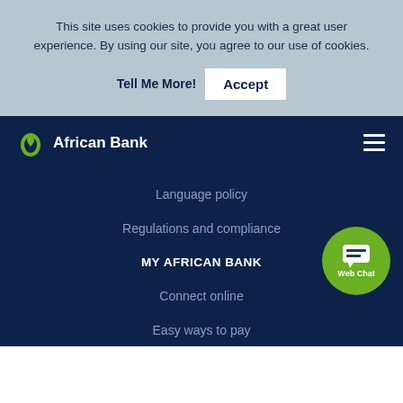This site uses cookies to provide you with a great user experience. By using our site, you agree to our use of cookies.
Tell Me More!
Accept
[Figure (logo): African Bank logo with green droplet icon and white text]
Language policy
Regulations and compliance
MY AFRICAN BANK
[Figure (other): Green circular Web Chat button with chat bubble icon]
Connect online
Easy ways to pay